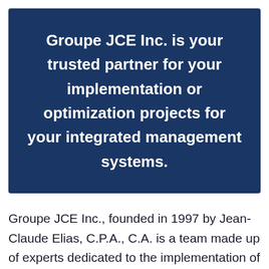Groupe JCE Inc. is your trusted partner for your implementation or optimization projects for your integrated management systems.
Groupe JCE Inc., founded in 1997 by Jean-Claude Elias, C.P.A., C.A. is a team made up of experts dedicated to the implementation of